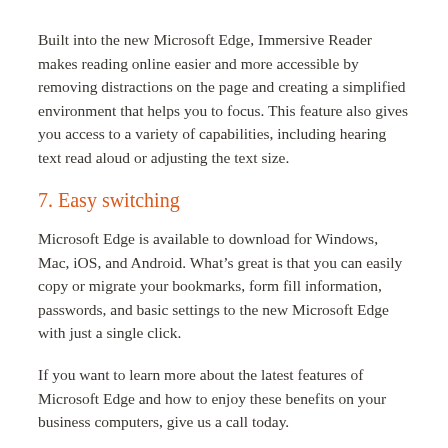Built into the new Microsoft Edge, Immersive Reader makes reading online easier and more accessible by removing distractions on the page and creating a simplified environment that helps you to focus. This feature also gives you access to a variety of capabilities, including hearing text read aloud or adjusting the text size.
7. Easy switching
Microsoft Edge is available to download for Windows, Mac, iOS, and Android. What’s great is that you can easily copy or migrate your bookmarks, form fill information, passwords, and basic settings to the new Microsoft Edge with just a single click.
If you want to learn more about the latest features of Microsoft Edge and how to enjoy these benefits on your business computers, give us a call today.